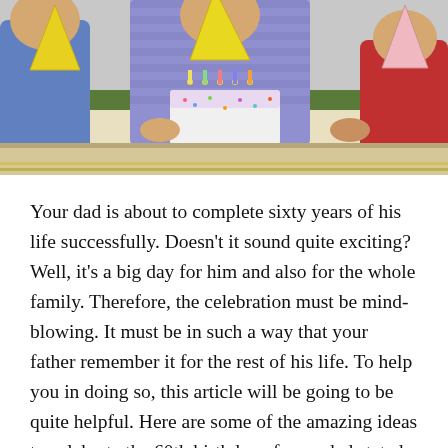[Figure (photo): Birthday party photo showing people with party hats around a decorated cake with candles]
Your dad is about to complete sixty years of his life successfully. Doesn't it sound quite exciting? Well, it's a big day for him and also for the whole family. Therefore, the celebration must be mind-blowing. It must be in such a way that your father remember it for the rest of his life. To help you in doing so, this article will be going to be quite helpful. Here are some of the amazing ideas to celebrate the 60th birthday of your dad stated below. Try them all and make this day one of the memorable days for your dad and the entire family.
Throw A Themed Surprise Party